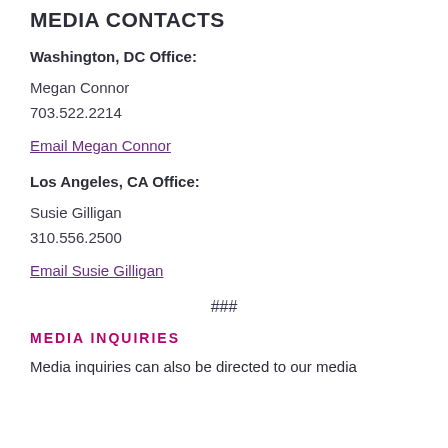MEDIA CONTACTS
Washington, DC Office:
Megan Connor
703.522.2214
Email Megan Connor
Los Angeles, CA Office:
Susie Gilligan
310.556.2500
Email Susie Gilligan
###
MEDIA INQUIRIES
Media inquiries can also be directed to our media